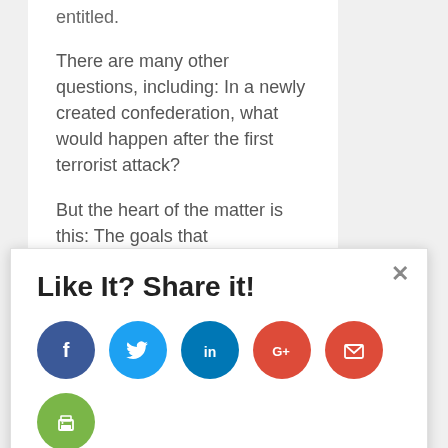entitled.
There are many other questions, including: In a newly created confederation, what would happen after the first terrorist attack?
But the heart of the matter is this: The goals that confederation proponents aspire to are fine, but their
Like It? Share it!
[Figure (infographic): Social share buttons: Facebook (dark blue), Twitter (light blue), LinkedIn (blue), Google+ (red), Email (red), Print (green)]